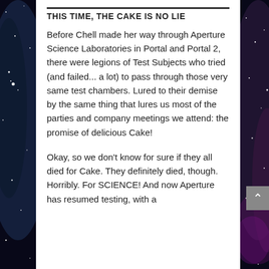THIS TIME, THE CAKE IS NO LIE
Before Chell made her way through Aperture Science Laboratories in Portal and Portal 2, there were legions of Test Subjects who tried (and failed... a lot) to pass through those very same test chambers. Lured to their demise by the same thing that lures us most of the parties and company meetings we attend: the promise of delicious Cake!
Okay, so we don't know for sure if they all died for Cake. They definitely died, though. Horribly. For SCIENCE! And now Aperture has resumed testing, with a